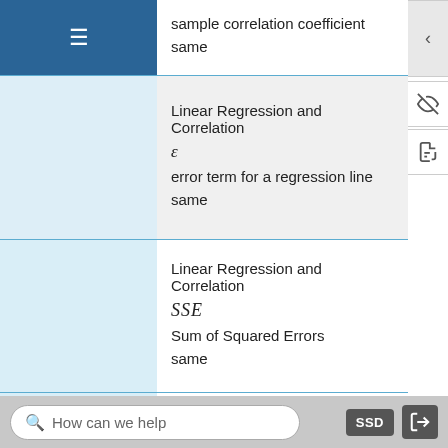sample correlation coefficient
same
Linear Regression and Correlation
ε
error term for a regression line
same
Linear Regression and Correlation
SSE
Sum of Squared Errors
same
F-Distribution and ANOVA